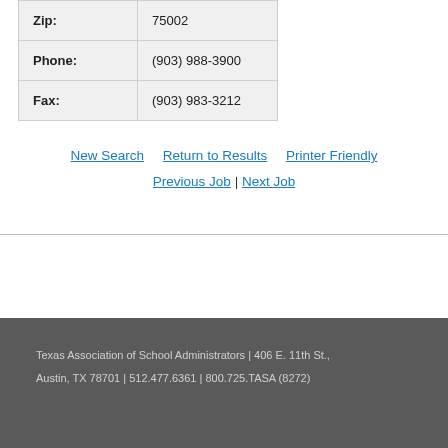| Zip: | 75002 |
| Phone: | (903) 988-3900 |
| Fax: | (903) 983-3212 |
New Search   Return to Results   Printer Friendly
Previous Job | Next Job
Texas Association of School Administrators  |  406 E. 11th St., Austin, TX 78701  |  512.477.6361  |  800.725.TASA (8272)